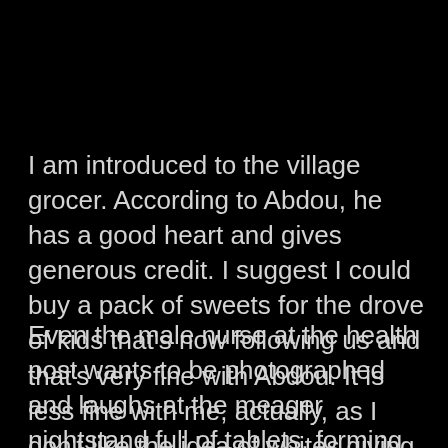I am introduced to the village grocer. According to Abdou, he has a good heart and gives generous credit. I suggest I could buy a pack of sweets for the drove of kids that's now following us and that's very fine with Abdou. It is less fine with me, actually, as I don't like the idea of whites giving unhealthy food to local children; so I ask Abdou to hand the sweets around.
Even the male nurse at the health post wants to be photographed and laughs at the meager nightstand full of tablets, forming the village pharmacy. A statistic on the wall shows that in most months the